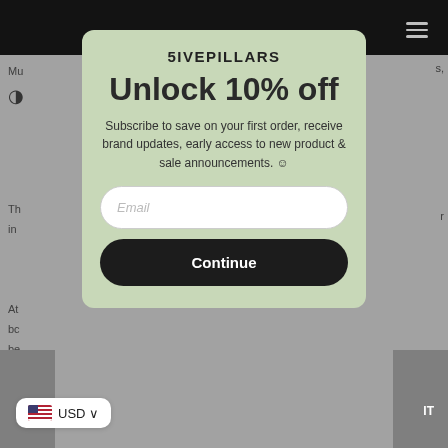[Figure (screenshot): Website screenshot with dark header bar, navigation icon, and partially visible page background text]
5IVEPILLARS
Unlock 10% off
Subscribe to save on your first order, receive brand updates, early access to new product & sale announcements. 😊
Email (input field placeholder)
Continue (button)
USD